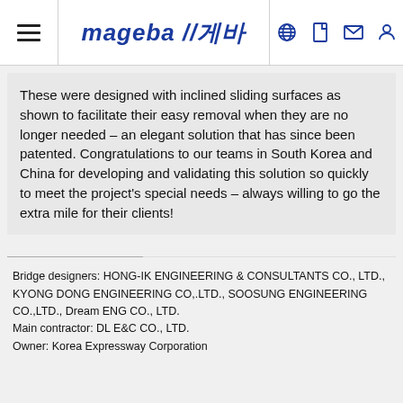mageba 마게바
These were designed with inclined sliding surfaces as shown to facilitate their easy removal when they are no longer needed – an elegant solution that has since been patented. Congratulations to our teams in South Korea and China for developing and validating this solution so quickly to meet the project's special needs – always willing to go the extra mile for their clients!
Bridge designers: HONG-IK ENGINEERING & CONSULTANTS CO., LTD., KYONG DONG ENGINEERING CO,.LTD., SOOSUNG ENGINEERING CO.,LTD., Dream ENG CO., LTD.
Main contractor: DL E&C CO., LTD.
Owner: Korea Expressway Corporation